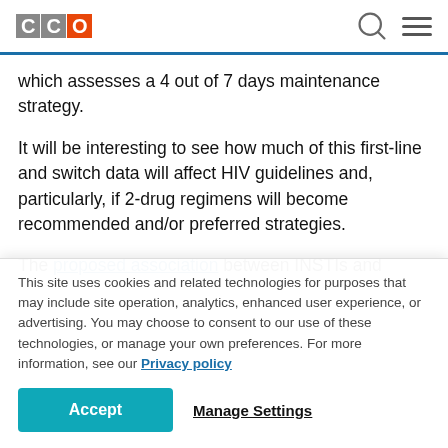CCO [logo]
which assesses a 4 out of 7 days maintenance strategy.
It will be interesting to see how much of this first-line and switch data will affect HIV guidelines and, particularly, if 2-drug regimens will become recommended and/or preferred strategies.
The proposed association between INSTIs and weight
This site uses cookies and related technologies for purposes that may include site operation, analytics, enhanced user experience, or advertising. You may choose to consent to our use of these technologies, or manage your own preferences. For more information, see our Privacy policy
Accept | Manage Settings